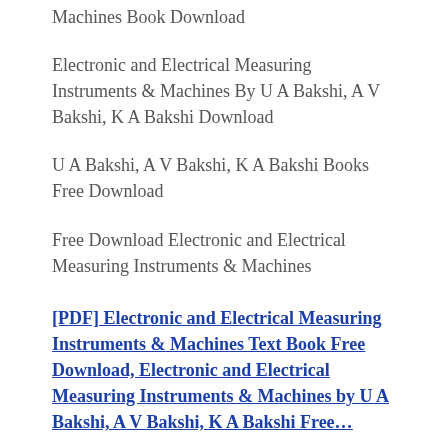Machines Book Download
Electronic and Electrical Measuring Instruments & Machines By U A Bakshi, A V Bakshi, K A Bakshi Download
U A Bakshi, A V Bakshi, K A Bakshi Books Free Download
Free Download Electronic and Electrical Measuring Instruments & Machines
[PDF] Electronic and Electrical Measuring Instruments & Machines Text Book Free Download, Electronic and Electrical Measuring Instruments & Machines by U A Bakshi, A V Bakshi, K A Bakshi Free...